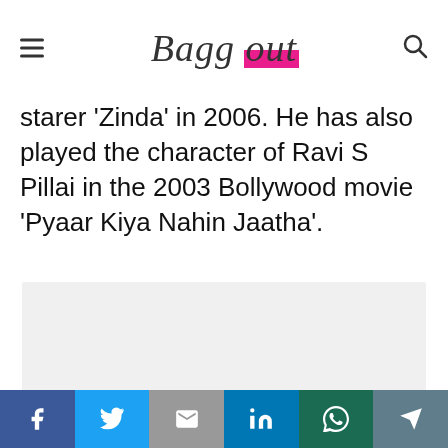Baggout
starer 'Zinda' in 2006. He has also played the character of Ravi S Pillai in the 2003 Bollywood movie 'Pyaar Kiya Nahin Jaatha'.
[Figure (other): Gray placeholder content box]
Social share bar: Facebook, Twitter, Gmail, LinkedIn, WhatsApp, Telegram